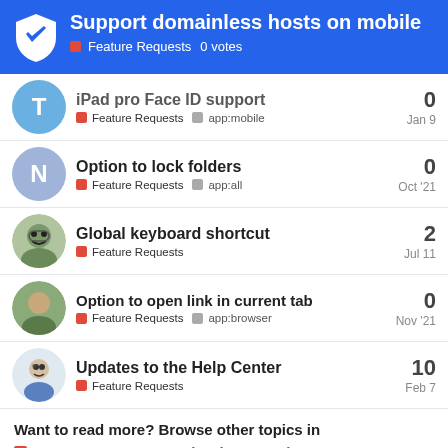Support domainless hosts on mobile — Feature Requests 0 votes
iPad pro Face ID support — Feature Requests, app:mobile — 0 — Jan 9
Option to lock folders — Feature Requests, app:all — 0 — Oct '21
Global keyboard shortcut — Feature Requests — 2 — Jul 11
Option to open link in current tab — Feature Requests, app:browser — 0 — Nov '21
Updates to the Help Center — Feature Requests — 10 — Feb 7
Want to read more? Browse other topics in Feature Requests or view latest topics.